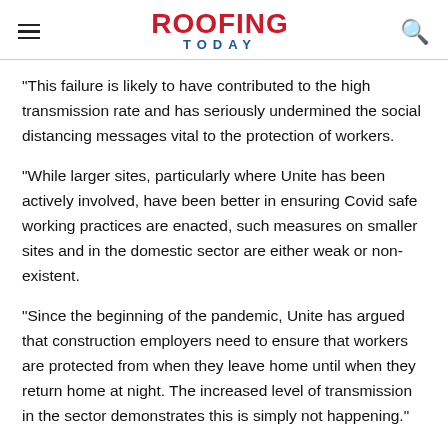ROOFING TODAY
“This failure is likely to have contributed to the high transmission rate and has seriously undermined the social distancing messages vital to the protection of workers.
“While larger sites, particularly where Unite has been actively involved, have been better in ensuring Covid safe working practices are enacted, such measures on smaller sites and in the domestic sector are either weak or non-existent.
“Since the beginning of the pandemic, Unite has argued that construction employers need to ensure that workers are protected from when they leave home until when they return home at night. The increased level of transmission in the sector demonstrates this is simply not happening.”